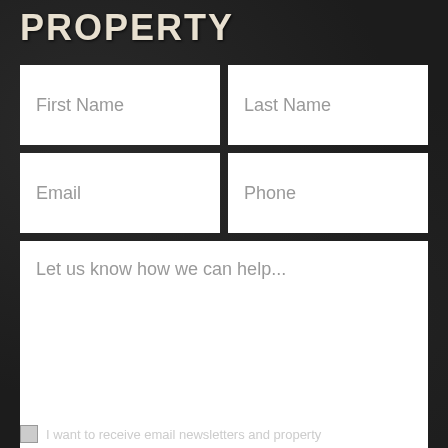PROPERTY
First Name
Last Name
Email
Phone
Let us know how we can help...
I want to receive email newsletters and property